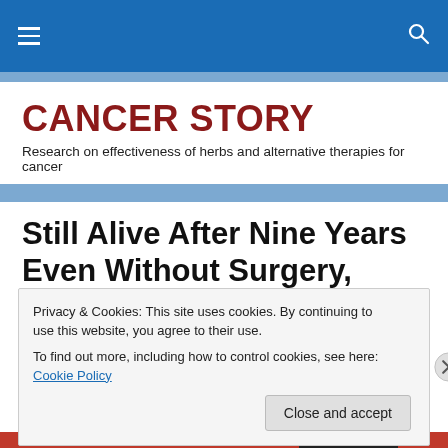CANCER STORY — site navigation bar
CANCER STORY
Research on effectiveness of herbs and alternative therapies for cancer
Still Alive After Nine Years Even Without Surgery, Chemotherapy or
Privacy & Cookies: This site uses cookies. By continuing to use this website, you agree to their use.
To find out more, including how to control cookies, see here: Cookie Policy
Close and accept